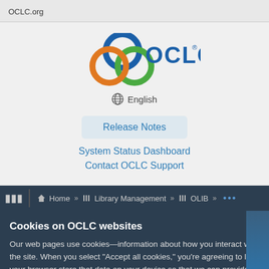OCLC.org
[Figure (logo): OCLC logo with three overlapping circles (blue, green, orange) and OCLC text]
English
Release Notes
System Status Dashboard
Contact OCLC Support
Home » Library Management » OLIB » ...
Cookies on OCLC websites
Our web pages use cookies—information about how you interact with the site. When you select “Accept all cookies,” you’re agreeing to let your browser store that data on your device so that we can provide you with a better, more relevant experience.